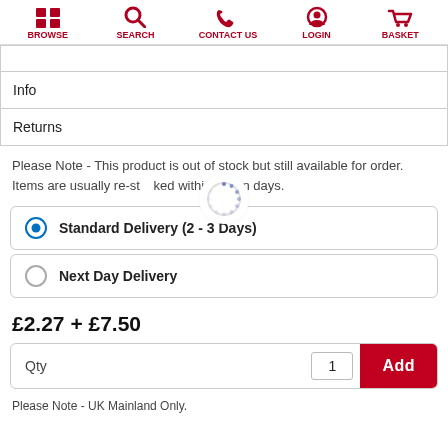BROWSE  SEARCH  CONTACT US  LOGIN  BASKET
Info
Returns
Please Note - This product is out of stock but still available for order. Items are usually re-stocked within seven days.
Standard Delivery (2 - 3 Days)
Next Day Delivery
£2.27 + £7.50
Qty  1  Add
Please Note - UK Mainland Only.